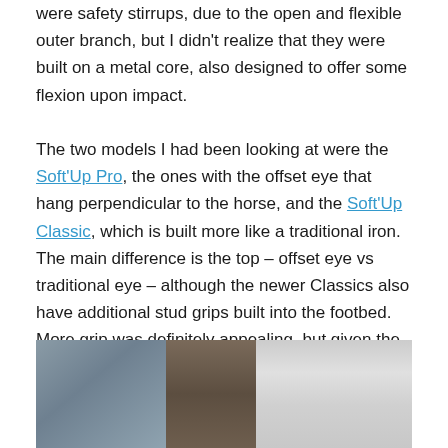were safety stirrups, due to the open and flexible outer branch, but I didn't realize that they were built on a metal core, also designed to offer some flexion upon impact.

The two models I had been looking at were the Soft'Up Pro, the ones with the offset eye that hang perpendicular to the horse, and the Soft'Up Classic, which is built more like a traditional iron. The main difference is the top – offset eye vs traditional eye – although the newer Classics also have additional stud grips built into the footbed. More grip was definitely appealing, but given the fact that most of my pain was knee related, the offset eye made more sense. The rep also said that most eventers seem to prefer the Pro, since, if you do lose a stirrup, it's hanging right there at an angle that makes it very easy to pick back up.
[Figure (photo): Photo showing equestrian stirrups or saddle equipment, partially visible at the bottom of the page]